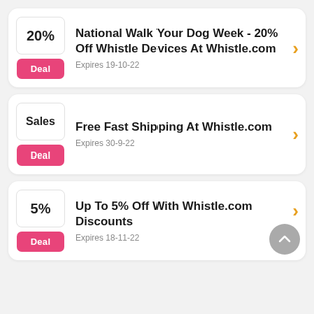National Walk Your Dog Week - 20% Off Whistle Devices At Whistle.com | Deal | Expires 19-10-22
Free Fast Shipping At Whistle.com | Sales | Deal | Expires 30-9-22
Up To 5% Off With Whistle.com Discounts | Deal | Expires 18-11-22